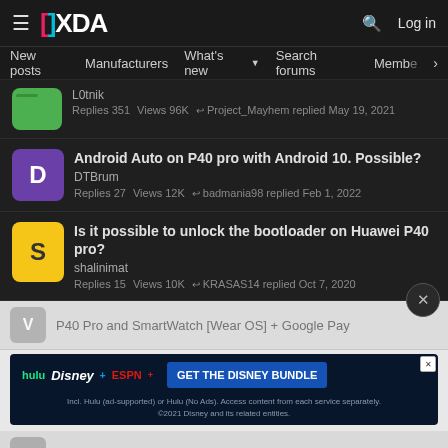XDA Developers — navigation bar with hamburger menu, XDA logo, search icon, Log in
New posts | Manufacturers | What's new ▾ | Search forums | Membe >
L0tnik — Replies 351 Views 96K — Project_Mayhem replied May 19, 2021
Android Auto on P40 pro with Android 10. Possible? — DTBrum — Replies 27 Views 12K — badmania98 replied Feb 1, 2022
Is it possible to unlock the bootloader on Huawei P40 pro? — shalinimat — Replies 15 Views 10K — KRASAS14 replied Oct 7, 2020
P40 Pro and SmartWatch [Wear OS] + Google Pay (partially visible)
[Figure (screenshot): Disney Bundle advertisement banner: hulu, Disney+, ESPN+ logos with 'GET THE DISNEY BUNDLE' call to action. Fine print: Incl. Hulu (ad-supported) or Hulu (No Ads). Access content from each service separately. ©2021 Disney and its related entities.]
P40 PRO Pokemon go (partially visible)